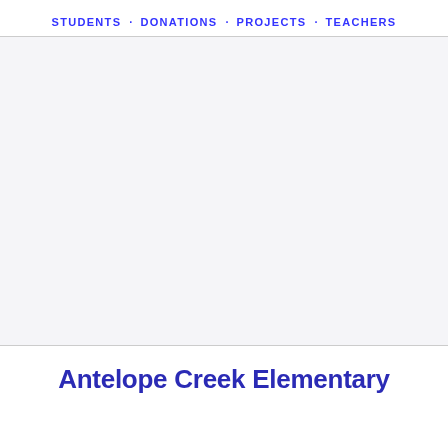STUDENTS · DONATIONS · PROJECTS · TEACHERS
[Figure (other): Large empty light gray content area, likely a map or image placeholder]
Antelope Creek Elementary